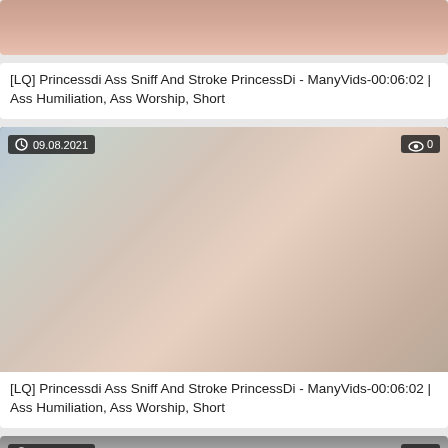[Figure (photo): Cropped thumbnail of video, partial view at top of page]
[LQ] Princessdi Ass Sniff And Stroke PrincessDi - ManyVids-00:06:02 | Ass Humiliation, Ass Worship, Short
[Figure (photo): Video thumbnail dated 09.08.2021, 0 views]
[LQ] Princessdi Ass Sniff And Stroke PrincessDi - ManyVids-00:06:02 | Ass Humiliation, Ass Worship, Short
[Figure (photo): Video thumbnail dated 09.08.2021, 0 views, partially visible at bottom]